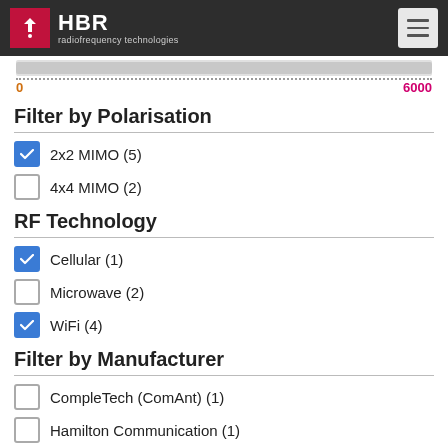[Figure (screenshot): HBR radiofrequency technologies website header with logo and hamburger menu]
[Figure (other): Frequency range slider showing range 0 to 6000]
Filter by Polarisation
2x2 MIMO (5) — checked
4x4 MIMO (2) — unchecked
RF Technology
Cellular (1) — checked
Microwave (2) — unchecked
WiFi (4) — checked
Filter by Manufacturer
CompleTech (ComAnt) (1) — unchecked
Hamilton Communication (1) — unchecked